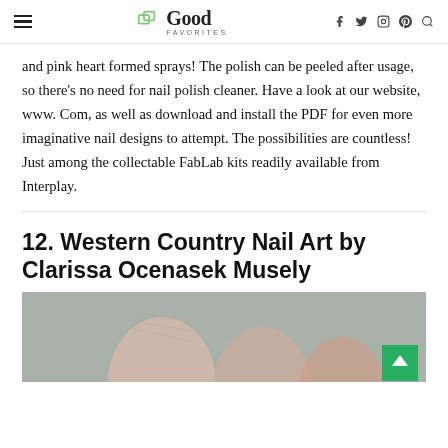Good Favorites
and pink heart formed sprays! The polish can be peeled after usage, so there's no need for nail polish cleaner. Have a look at our website, www. Com, as well as download and install the PDF for even more imaginative nail designs to attempt. The possibilities are countless! Just among the collectable FabLab kits readily available from Interplay.
12. Western Country Nail Art by Clarissa Ocenasek Musely
[Figure (photo): Close-up photograph of fingers/nails showing nail art, with a green scroll-to-top button in the bottom right corner.]